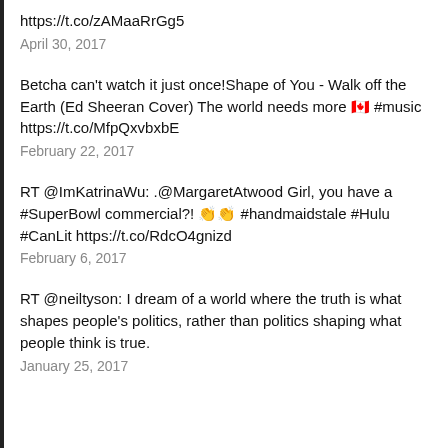https://t.co/zAMaaRrGg5
April 30, 2017
Betcha can't watch it just once!Shape of You - Walk off the Earth (Ed Sheeran Cover) The world needs more 🇨🇦 #music https://t.co/MfpQxvbxbE
February 22, 2017
RT @ImKatrinaWu: .@MargaretAtwood Girl, you have a #SuperBowl commercial?! 👏👏 #handmaidstale #Hulu #CanLit https://t.co/RdcO4gnizd
February 6, 2017
RT @neiltyson: I dream of a world where the truth is what shapes people's politics, rather than politics shaping what people think is true.
January 25, 2017